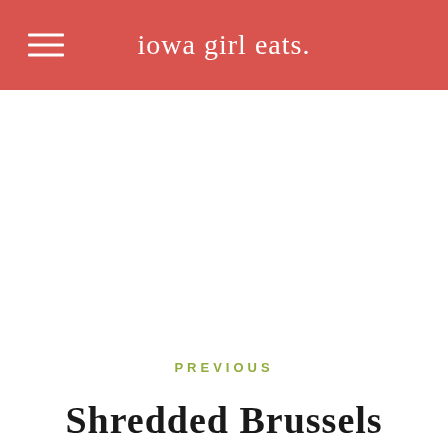iowa girl eats.
PREVIOUS
Shredded Brussels Sprouts Caesar Salad